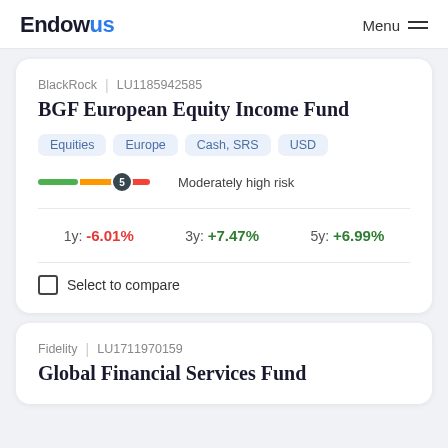Endowus | Menu
BlackRock | LU1185942585
BGF European Equity Income Fund
Equities
Europe
Cash, SRS
USD
5 Moderately high risk
1y: -6.01%  3y: +7.47%  5y: +6.99%
Select to compare
Fidelity | LU1711970159
Global Financial Services Fund